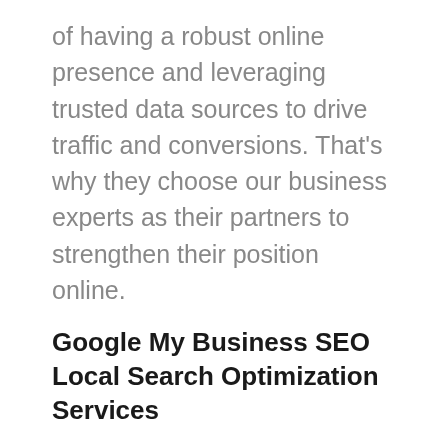of having a robust online presence and leveraging trusted data sources to drive traffic and conversions. That's why they choose our business experts as their partners to strengthen their position online.
Google My Business SEO Local Search Optimization Services
Having a presence in online directories and business profiles SEO can significantly improve your local search results.
A listing in these authoritative sites will be considered an endorsement of your